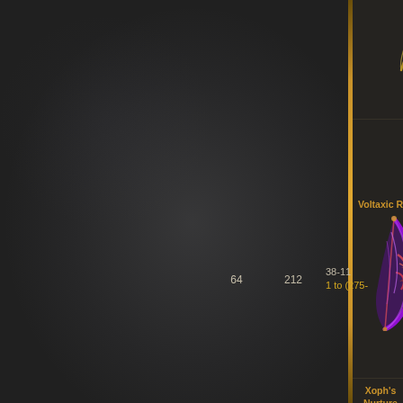[Figure (screenshot): Game UI screenshot showing an item list/comparison panel. Left side has a dark smoky textured background. Right panel shows item entries. A partial golden bow tip is visible at the top. 'Voltaxic Rift' item (purple/orange bow) is listed with stats: 64, 212, 38-11..., 1 to (275-...). 'Xoph's Nurture' item partially visible at bottom.]